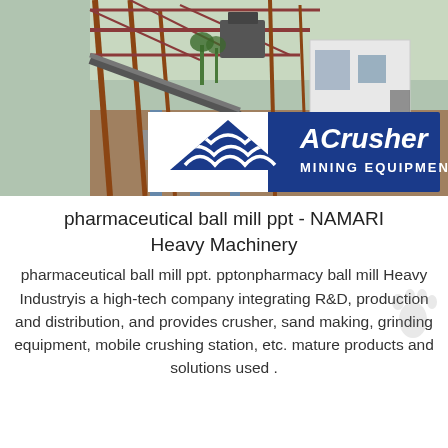[Figure (photo): Industrial mining/crushing plant with metal scaffolding, conveyor belts, and a white building in the background. ACrusher Mining Equipment logo overlaid in blue and white in the lower center of the photo.]
pharmaceutical ball mill ppt - NAMARI Heavy Machinery
pharmaceutical ball mill ppt. pptonpharmacy ball mill Heavy Industryis a high-tech company integrating R&D, production and distribution, and provides crusher, sand making, grinding equipment, mobile crushing station, etc. mature products and solutions used .